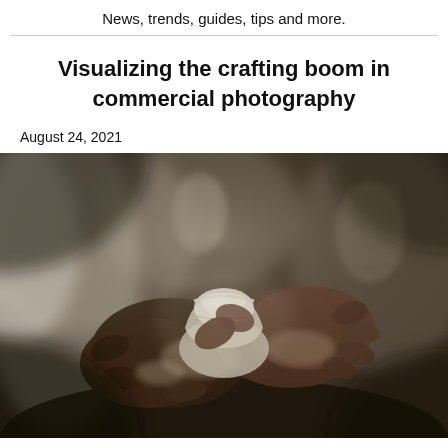News, trends, guides, tips and more.
Visualizing the crafting boom in commercial photography
August 24, 2021
[Figure (photo): Close-up photograph of clay-covered hands shaping a small pottery vessel on a potter's wheel, with additional pottery pieces visible in the background. Monochromatic dark tone with earthy tones.]